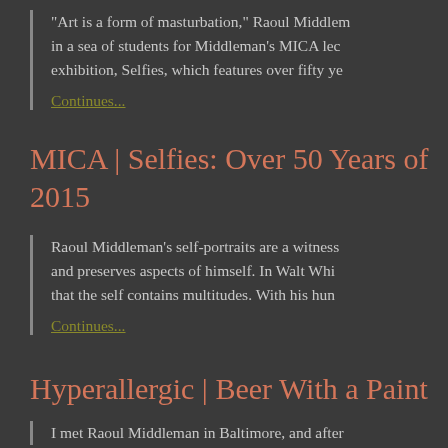"Art is a form of masturbation," Raoul Middlem... in a sea of students for Middleman's MICA lec... exhibition, Selfies, which features over fifty ye...
Continues...
MICA | Selfies: Over 50 Years of 2015
Raoul Middleman's self-portraits are a witness... and preserves aspects of himself. In Walt Whi... that the self contains multitudes. With his hun...
Continues...
Hyperallergic | Beer With a Paint...
I met Raoul Middleman in Baltimore, and after...